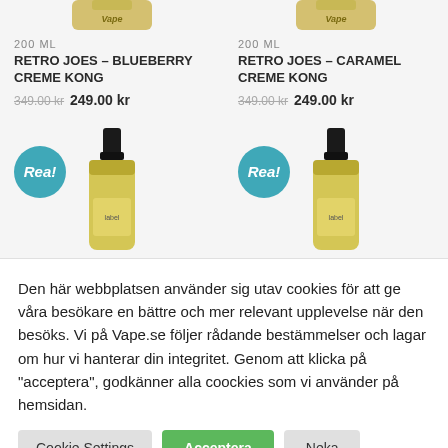[Figure (photo): Top portion of two e-liquid bottles with golden/yellow bodies, partially visible at top of page]
200 ML
RETRO JOES – BLUEBERRY CREME KONG
349.00 kr  249.00 kr
200 ML
RETRO JOES – CARAMEL CREME KONG
349.00 kr  249.00 kr
[Figure (photo): Two e-liquid bottles with black dropper caps and golden/yellow bodies, each with a teal 'Rea!' badge overlay]
Den här webbplatsen använder sig utav cookies för att ge våra besökare en bättre och mer relevant upplevelse när den besöks. Vi på Vape.se följer rådande bestämmelser och lagar om hur vi hanterar din integritet. Genom att klicka på "acceptera", godkänner alla coockies som vi använder på hemsidan.
Cookie Settings  Acceptera  Neka